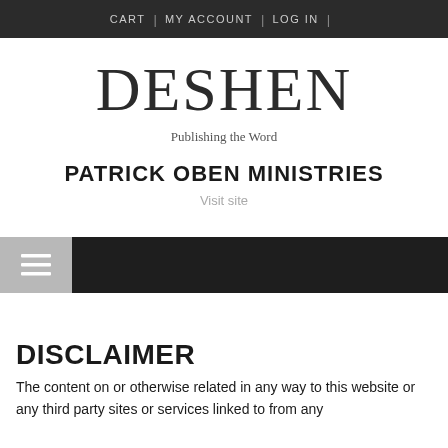CART | MY ACCOUNT | LOG IN |
DESHEN
Publishing the Word
PATRICK OBEN MINISTRIES
Visit site
DISCLAIMER
The content on or otherwise related in any way to this website or any third party sites or services linked to from any